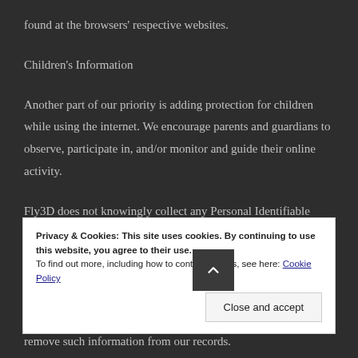found at the browsers' respective websites.
Children's Information
Another part of our priority is adding protection for children while using the internet. We encourage parents and guardians to observe, participate in, and/or monitor and guide their online activity.
Fly3D does not knowingly collect any Personal Identifiable Information from children under the age of 13. If you think
Privacy & Cookies: This site uses cookies. By continuing to use this website, you agree to their use.
To find out more, including how to control cookies, see here: Cookie Policy
Close and accept
remove such information from our records.